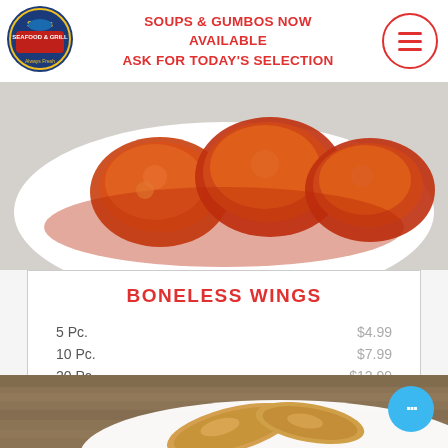[Figure (logo): Sam's Seafood & Grill circular logo with fish graphic]
SOUPS & GUMBOS NOW AVAILABLE
ASK FOR TODAY'S SELECTION
[Figure (photo): Plate of saucy boneless wings with orange buffalo sauce on white plate]
BONELESS WINGS
| Size | Price |
| --- | --- |
| 5 Pc. | $4.99 |
| 10 Pc. | $7.99 |
| 20 Pc. | $12.99 |
| 30 Pc. | $16.99 |
| 40 Pc. | $22.99 |
[Figure (photo): Plate of fried chicken tenders/strips on wooden table surface]